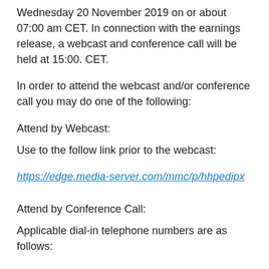Wednesday 20 November 2019 on or about 07:00 am CET. In connection with the earnings release, a webcast and conference call will be held at 15:00. CET.
In order to attend the webcast and/or conference call you may do one of the following:
Attend by Webcast:
Use to the follow link prior to the webcast:
https://edge.media-server.com/mmc/p/hhpedipx
Attend by Conference Call:
Applicable dial-in telephone numbers are as follows: